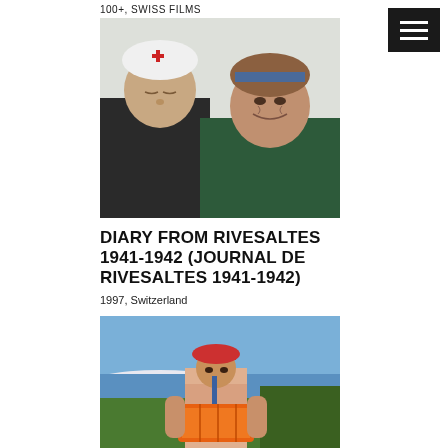100+, SWISS FILMS
[Figure (photo): Two women photographed outdoors. The woman on the left wears a white cap with a red cross symbol and a dark jacket with eyes closed. The woman on the right is older, smiling, wearing a blue headband and dark green jacket.]
DIARY FROM RIVESALTES 1941-1942 (JOURNAL DE RIVESALTES 1941-1942)
1997, Switzerland
[Figure (photo): A person wearing a red hat and light pink top, carrying a large orange crate, standing in a vineyard or outdoor landscape with blue water and mountains visible in the background.]